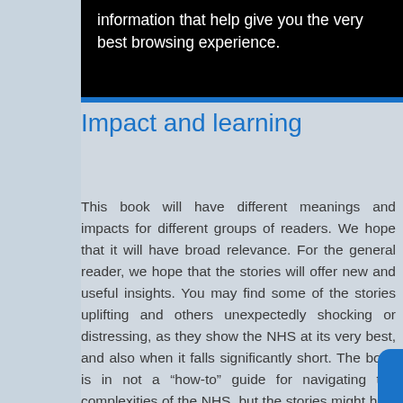information that help give you the very best browsing experience.
Impact and learning
This book will have different meanings and impacts for different groups of readers. We hope that it will have broad relevance. For the general reader, we hope that the stories will offer new and useful insights. You may find some of the stories uplifting and others unexpectedly shocking or distressing, as they show the NHS at its very best, and also when it falls significantly short. The book is in not a “how-to” guide for navigating the complexities of the NHS, but the stories might help you think back on some past personal experiences and on how you might approach the NHS